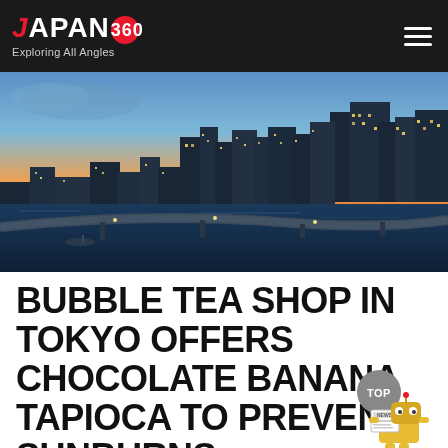JAPAN360 — Exploring All Angles
[Figure (photo): Panoramic night cityscape of Tokyo showing illuminated skyscrapers, a waterway/bay in the foreground, elevated highways, and a dramatic sunset sky with orange and blue tones]
BUBBLE TEA SHOP IN TOKYO OFFERS CHOCOLATE BANANA TAPIOCA TO PREVENT SUNBURNS
[Figure (illustration): Gray circular TOP badge overlapping a cartoon news robot mascot holding a newspaper labeled NEWS]